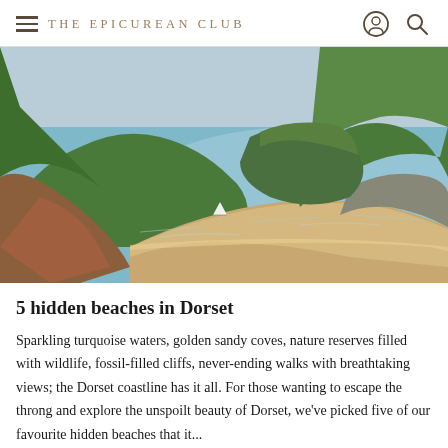THE EPICUREAN CLUB
[Figure (photo): Aerial view of a curved sandy beach bay with turquoise water, green cliff headlands, and rust-red eroded cliffs on the Dorset coast. A small sailboat is visible in the bay.]
5 hidden beaches in Dorset
Sparkling turquoise waters, golden sandy coves, nature reserves filled with wildlife, fossil-filled cliffs, never-ending walks with breathtaking views; the Dorset coastline has it all. For those wanting to escape the throng and explore the unspoilt beauty of Dorset, we've picked five of our favourite hidden beaches that it...